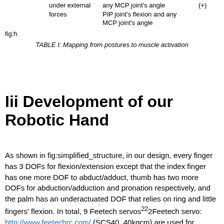|  | under external forces | any MCP joint's angle
PIP joint's flexion and any MCP joint's angle | (+) | + |
| fig:h |  |  |  |  |
TABLE I: Mapping from postures to muscle activation
Iii Development of our Robotic Hand
As shown in fig:simplified_structure, in our design, every finger has 3 DOFs for flexion/extension except that the index finger has one more DOF to abduct/adduct, thumb has two more DOFs for abduction/adduction and pronation respectively, and the palm has an underactuated DOF that relies on ring and little fingers' flexion. In total, 9 Feetech servos²²2Feetech servo: http://www.feetechrc.com/ (SCS40, 40kgcm) are used for controlling the finger movements: 1 for ring and little fingers, 1 for the middle finger, 4 for the index finger and 3 for the thumb.